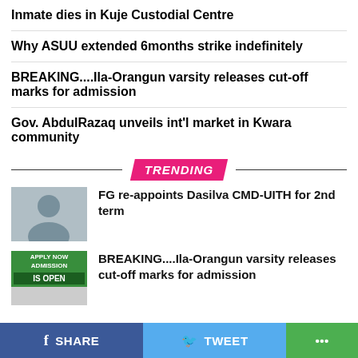Inmate dies in Kuje Custodial Centre
Why ASUU extended 6months strike indefinitely
BREAKING....Ila-Orangun varsity releases cut-off marks for admission
Gov. AbdulRazaq unveils int'l market in Kwara community
TRENDING
FG re-appoints Dasilva CMD-UITH for 2nd term
BREAKING....Ila-Orangun varsity releases cut-off marks for admission
SHARE   TWEET   ...